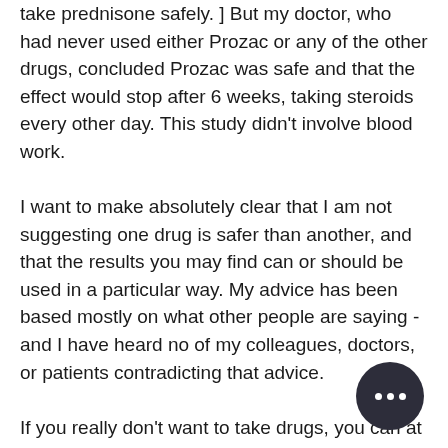take prednisone safely. ] But my doctor, who had never used either Prozac or any of the other drugs, concluded Prozac was safe and that the effect would stop after 6 weeks, taking steroids every other day. This study didn't involve blood work.
I want to make absolutely clear that I am not suggesting one drug is safer than another, and that the results you may find can or should be used in a particular way. My advice has been based mostly on what other people are saying - and I have heard no of my colleagues, doctors, or patients contradicting that advice.
If you really don't want to take drugs, you can at least tell your doctors before you do any kind of strenuous activity, and I don't think any of this material is really going to make you feel better in any way. (In fact, I think it can make you feel worse.) If you want